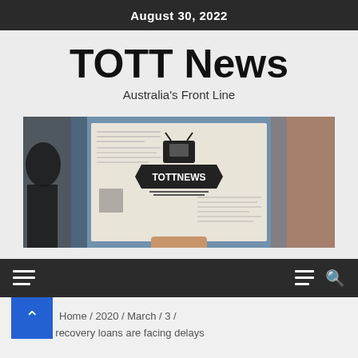August 30, 2022
TOTT News
Australia's Front Line
[Figure (photo): Person holding a newspaper with TOTT News logo printed on the front page, with colorful graffiti wall in background]
Navigation bar with hamburger menu icons and search icon
Home / 2020 / March / 3 /
Bushfire recovery loans are facing delays